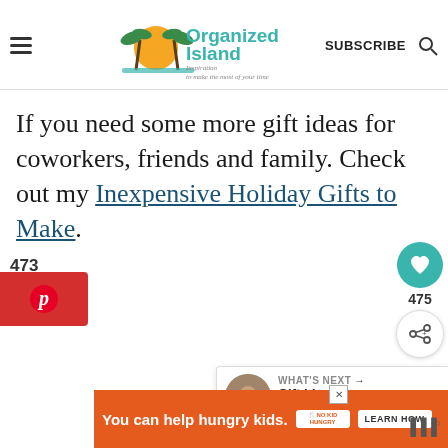Organized Island — Inspiration to make the most of your time | SUBSCRIBE
If you need some more gift ideas for coworkers, friends and family. Check out my Inexpensive Holiday Gifts to Make.
473 SHARES
[Figure (screenshot): Pinterest share button (red, with Pinterest P icon)]
[Figure (screenshot): Floating right side buttons: heart icon (teal circle), 475 count, share icon (white circle)]
[Figure (screenshot): What's Next card with photo thumbnail and text: Gift Ideas for Your BFF]
[Figure (screenshot): Ad banner: You can help hungry kids. No Kid Hungry. LEARN HOW. Orange background.]